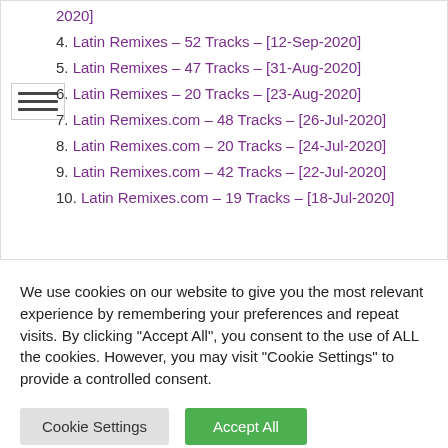2020]
4. Latin Remixes – 52 Tracks – [12-Sep-2020]
5. Latin Remixes – 47 Tracks – [31-Aug-2020]
6. Latin Remixes – 20 Tracks – [23-Aug-2020]
7. Latin Remixes.com – 48 Tracks – [26-Jul-2020]
8. Latin Remixes.com – 20 Tracks – [24-Jul-2020]
9. Latin Remixes.com – 42 Tracks – [22-Jul-2020]
10. Latin Remixes.com – 19 Tracks – [18-Jul-2020]
We use cookies on our website to give you the most relevant experience by remembering your preferences and repeat visits. By clicking "Accept All", you consent to the use of ALL the cookies. However, you may visit "Cookie Settings" to provide a controlled consent.